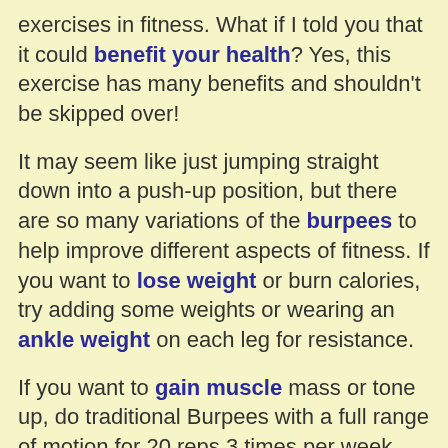exercises in fitness. What if I told you that it could benefit your health? Yes, this exercise has many benefits and shouldn't be skipped over!
It may seem like just jumping straight down into a push-up position, but there are so many variations of the burpees to help improve different aspects of fitness. If you want to lose weight or burn calories, try adding some weights or wearing an ankle weight on each leg for resistance.
If you want to gain muscle mass or tone up, do traditional Burpees with a full range of motion for 20 reps 3 times per week with no additional equipment needed. No matter what your goal is, doing Burpees will help achieve it!